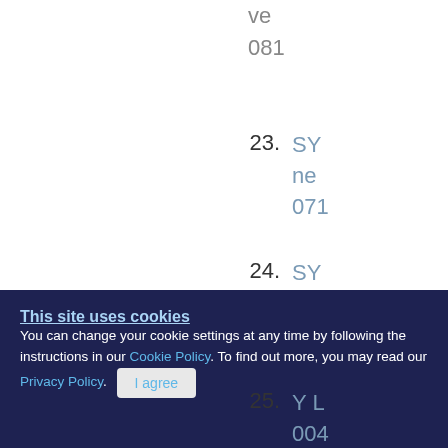ve... 081...
23. SY... ne... 071...
24. SY... ate... ma...
25. Y L... 004...
This site uses cookies
You can change your cookie settings at any time by following the instructions in our Cookie Policy. To find out more, you may read our Privacy Policy.
I agree